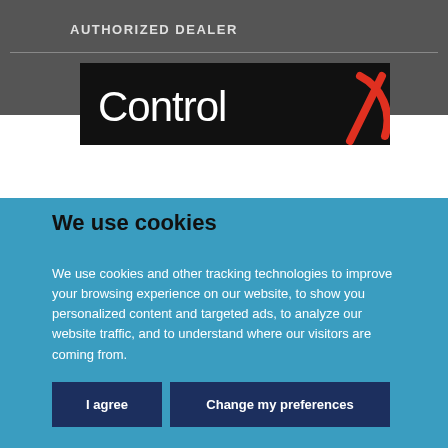AUTHORIZED DEALER
[Figure (logo): Control4 logo on black background with red arc graphic]
We use cookies
We use cookies and other tracking technologies to improve your browsing experience on our website, to show you personalized content and targeted ads, to analyze our website traffic, and to understand where our visitors are coming from.
I agree
Change my preferences